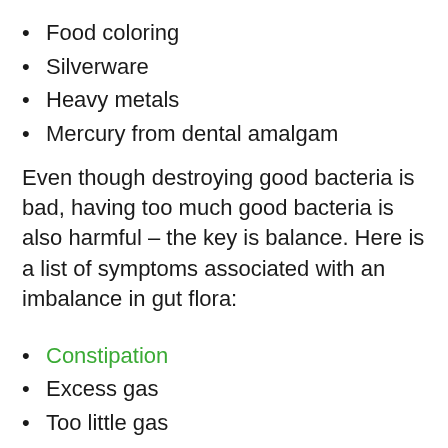Food coloring
Silverware
Heavy metals
Mercury from dental amalgam
Even though destroying good bacteria is bad, having too much good bacteria is also harmful – the key is balance. Here is a list of symptoms associated with an imbalance in gut flora:
Constipation
Excess gas
Too little gas
Chronic diarrhea